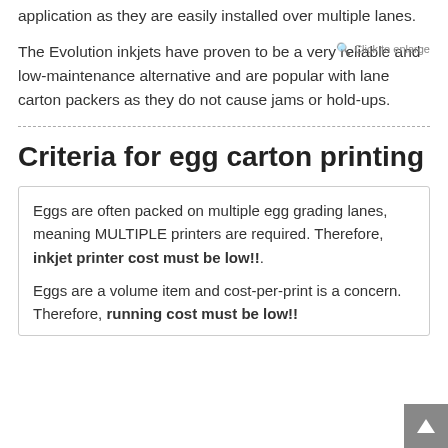application as they are easily installed over multiple lanes.
The Evolution inkjets have proven to be a very reliable and low-maintenance alternative and are popular with lane carton packers as they do not cause jams or hold-ups.
Criteria for egg carton printing
Eggs are often packed on multiple egg grading lanes, meaning MULTIPLE printers are required. Therefore, inkjet printer cost must be low!!.
Eggs are a volume item and cost-per-print is a concern. Therefore, running cost must be low!!